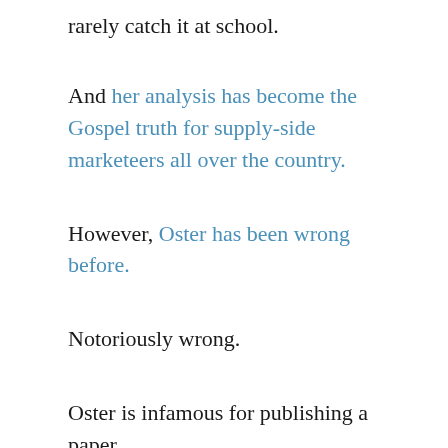rarely catch it at school.
And her analysis has become the Gospel truth for supply-side marketeers all over the country.
However, Oster has been wrong before.
Notoriously wrong.
Oster is infamous for publishing a paper